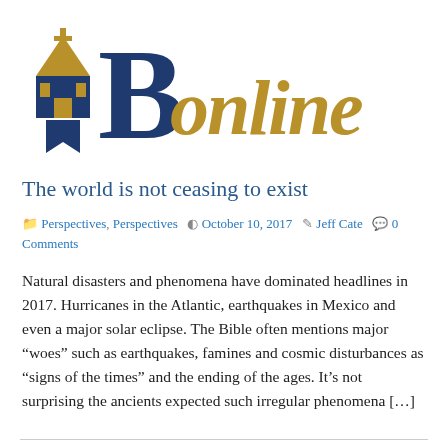[Figure (logo): B Online publication logo with church icon, large blue letter B, and gold italic 'online' text]
The world is not ceasing to exist
Perspectives, Perspectives  October 10, 2017  Jeff Cate  0 Comments
Natural disasters and phenomena have dominated headlines in 2017. Hurricanes in the Atlantic, earthquakes in Mexico and even a major solar eclipse. The Bible often mentions major “woes” such as earthquakes, famines and cosmic disturbances as “signs of the times” and the ending of the ages. It’s not surprising the ancients expected such irregular phenomena […]